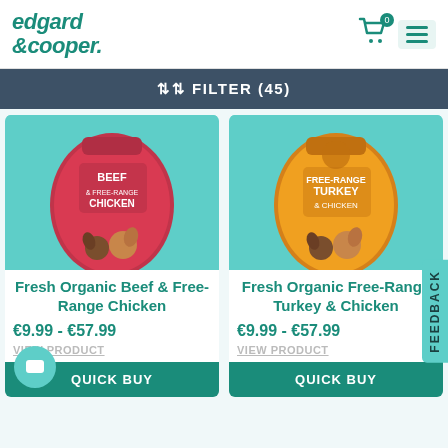edgard & cooper - header with cart (0) and menu
↕↑ FILTER (45)
[Figure (photo): Product photo: Fresh Organic Beef & Free-Range Chicken dog food bag on teal background]
Fresh Organic Beef & Free-Range Chicken
€9.99 - €57.99
VIEW PRODUCT
QUICK BUY
[Figure (photo): Product photo: Fresh Organic Free-Range Turkey & Chicken dog food bag on teal background]
Fresh Organic Free-Range Turkey & Chicken
€9.99 - €57.99
VIEW PRODUCT
QUICK BUY